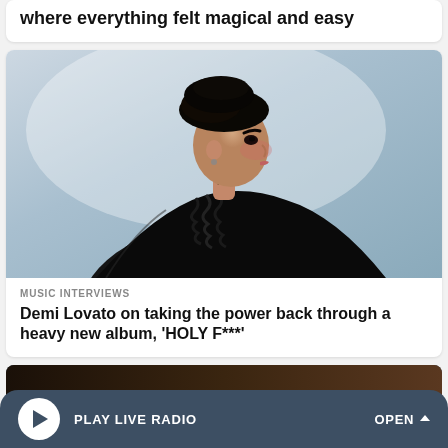where everything felt magical and easy
[Figure (photo): A person with dark hair in an updo, wearing a black leather jacket with ruffled collar, viewed from the side profile against a light blue-grey background]
MUSIC INTERVIEWS
Demi Lovato on taking the power back through a heavy new album, ‘HOLY F***’
[Figure (screenshot): Partial view of another article card with dark background]
PLAY LIVE RADIO   OPEN